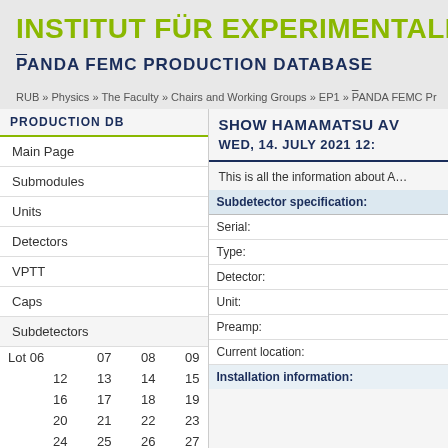INSTITUT FÜR EXPERIMENTALPHYS…
P̄ANDA FEMC PRODUCTION DATABASE
RUB » Physics » The Faculty » Chairs and Working Groups » EP1 » P̄ANDA FEMC Pr…
PRODUCTION DB
Main Page
Submodules
Units
Detectors
VPTT
Caps
Subdetectors
| Lot 06 | 07 | 08 | 09 |
| --- | --- | --- | --- |
| 12 | 13 | 14 | 15 |
| 16 | 17 | 18 | 19 |
| 20 | 21 | 22 | 23 |
| 24 | 25 | 26 | 27 |
SHOW HAMAMATSU AV… WED, 14. JULY 2021 12:…
This is all the information about A…
| Subdetector specification: |
| --- |
| Serial: |
| Type: |
| Detector: |
| Unit: |
| Preamp: |
| Current location: |
| Installation information: |